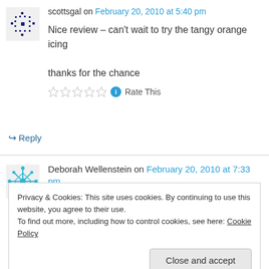scottsgal on February 20, 2010 at 5:40 pm
Nice review – can't wait to try the tangy orange icing

thanks for the chance
↪ Reply
Deborah Wellenstein on February 20, 2010 at 7:33 pm
Privacy & Cookies: This site uses cookies. By continuing to use this website, you agree to their use.
To find out more, including how to control cookies, see here: Cookie Policy

Close and accept